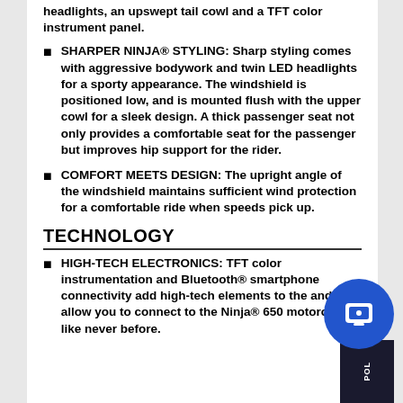headlights, an upswept tail cowl and a TFT color instrument panel.
SHARPER NINJA® STYLING: Sharp styling comes with aggressive bodywork and twin LED headlights for a sporty appearance. The windshield is positioned low, and is mounted flush with the upper cowl for a sleek design. A thick passenger seat not only provides a comfortable seat for the passenger but improves hip support for the rider.
COMFORT MEETS DESIGN: The upright angle of the windshield maintains sufficient wind protection for a comfortable ride when speeds pick up.
TECHNOLOGY
HIGH-TECH ELECTRONICS: TFT color instrumentation and Bluetooth® smartphone connectivity add high-tech elements to the and allow you to connect to the Ninja® 650 motorcycle like never before.